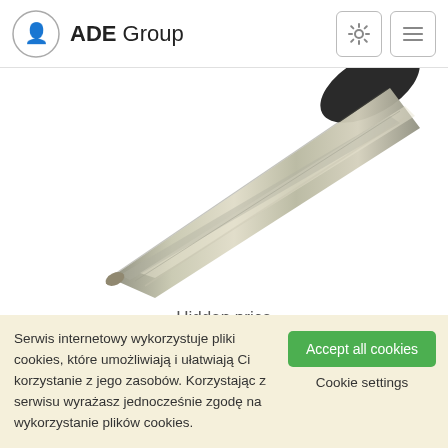ADE Group
[Figure (photo): Close-up photograph of a metal car key blade (uncut/blank key) with black plastic head, shot at an angle on a white background.]
Hidden price
Serwis internetowy wykorzystuje pliki cookies, które umożliwiają i ułatwiają Ci korzystanie z jego zasobów. Korzystając z serwisu wyrażasz jednocześnie zgodę na wykorzystanie plików cookies.
Accept all cookies
Cookie settings